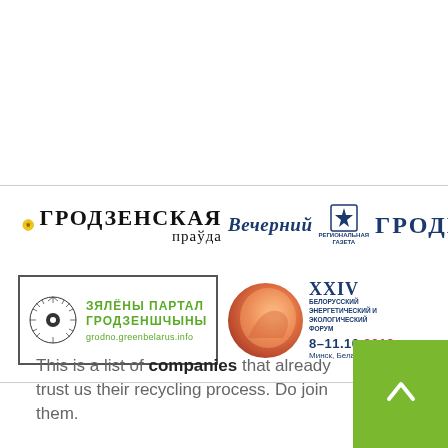[Figure (logo): Гродзенская Праўда newspaper logo with decorative star emblem]
[Figure (logo): Вечерний Гродно regional newspaper logo]
[Figure (logo): Зялёны Партал Гродзеншчыны green portal banner with circular emblem and URL grodno.greenbelarus.info]
[Figure (logo): XXIV Белорусский энергетический и экологический форум 8-11.10.2019 Минск, Беларусь banner]
This is a list of companies that already trust us their recycling process. Do join them.